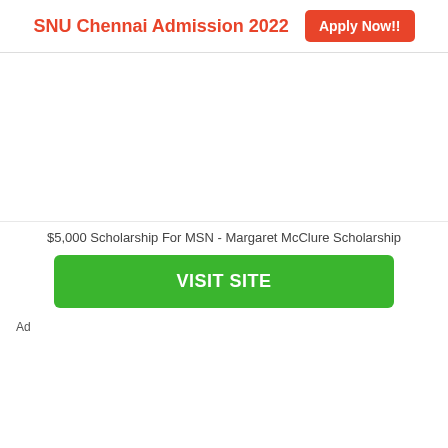SNU Chennai Admission 2022  Apply Now!!
ULSAT 2022 Registration
$5,000 Scholarship For MSN - Margaret McClure Scholarship
VISIT SITE
Ad